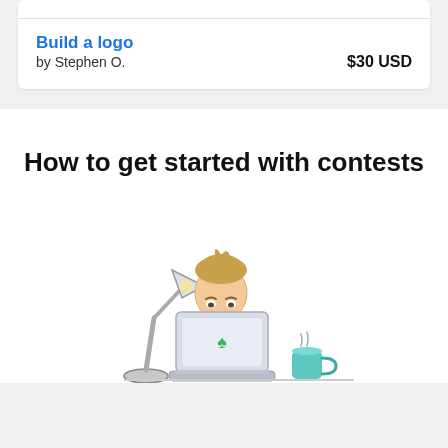Build a logo
by Stephen O.    $30 USD
How to get started with contests
[Figure (illustration): Illustration of a person sitting behind a laptop computer with a desk lamp on the left and a mug on the right]